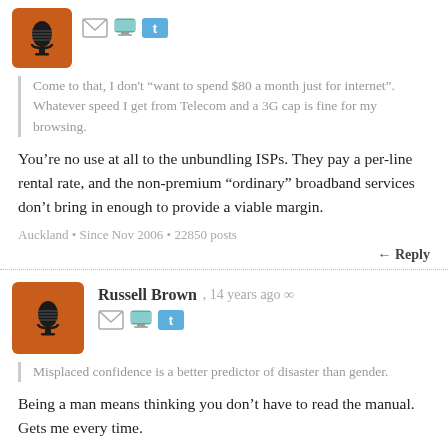[Figure (illustration): Orange avatar with microphone icon, with mail, PC, and Twitter icons to the right]
Come to that, I don't “want to spend $80 a month just for internet”. Whatever speed I get from Telecom and a 3G cap is fine for my browsing.
You’re no use at all to the unbundling ISPs. They pay a per-line rental rate, and the non-premium “ordinary” broadband services don’t bring in enough to provide a viable margin.
Auckland • Since Nov 2006 • 22850 posts
← Reply
[Figure (illustration): Orange avatar with microphone icon for Russell Brown]
Russell Brown, 14 years ago ∞
Misplaced confidence is a better predictor of disaster than gender.
Being a man means thinking you don’t have to read the manual. Gets me every time.
Auckland • Since Nov 2006 • 22850 posts